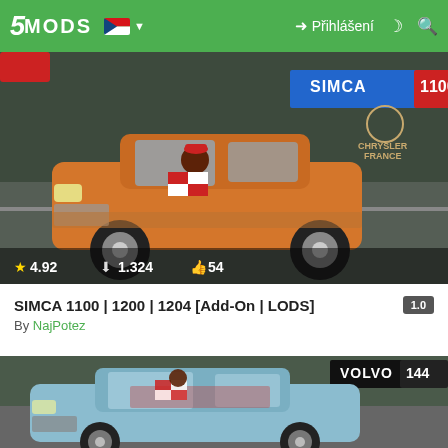5MODS — Přihlášení
[Figure (screenshot): GTA mod screenshot: orange SIMCA 1100 car being driven in-game, with SIMCA 1100 billboard and Chrysler France logo visible in background. Stats overlay shows star rating 4.92, downloads 1.324, likes 54.]
SIMCA 1100 | 1200 | 1204 [Add-On | LODS]  1.0
By NajPotez
[Figure (screenshot): GTA mod screenshot: light blue Volvo 144 car driving in-game with Volvo 144 logo visible in top right corner of the image.]